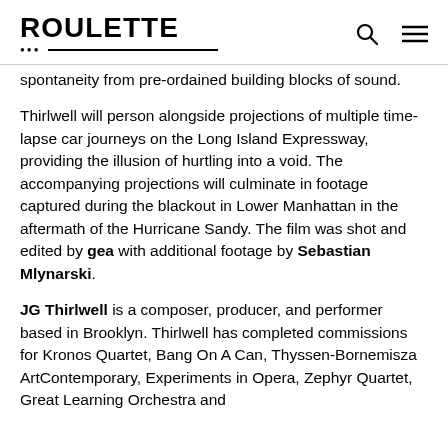ROULETTE
spontaneity from pre-ordained building blocks of sound.
Thirlwell will person alongside projections of multiple time-lapse car journeys on the Long Island Expressway, providing the illusion of hurtling into a void. The accompanying projections will culminate in footage captured during the blackout in Lower Manhattan in the aftermath of the Hurricane Sandy. The film was shot and edited by gea with additional footage by Sebastian Mlynarski.
JG Thirlwell is a composer, producer, and performer based in Brooklyn. Thirlwell has completed commissions for Kronos Quartet, Bang On A Can, Thyssen-Bornemisza ArtContemporary, Experiments in Opera, Zephyr Quartet, Great Learning Orchestra and